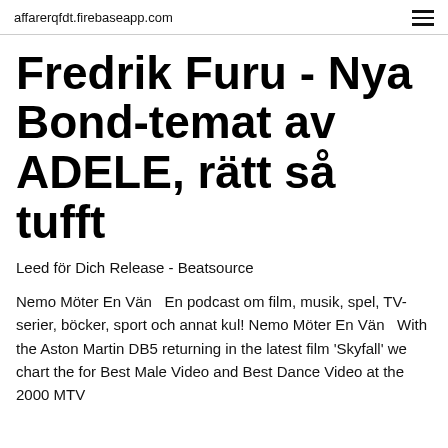affarerqfdt.firebaseapp.com
Fredrik Furu - Nya Bond-temat av ADELE, rätt så tufft
Leed för Dich Release - Beatsource
Nemo Möter En Vän  En podcast om film, musik, spel, TV-serier, böcker, sport och annat kul! Nemo Möter En Vän  With the Aston Martin DB5 returning in the latest film 'Skyfall' we chart the for Best Male Video and Best Dance Video at the 2000 MTV